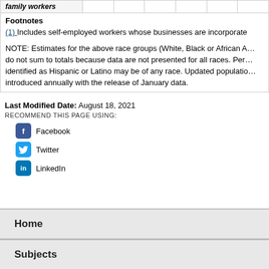| family workers |  |  |  |  |  |  |
| --- | --- | --- | --- | --- | --- | --- |
Footnotes
(1) Includes self-employed workers whose businesses are incorporated
NOTE: Estimates for the above race groups (White, Black or African A... do not sum to totals because data are not presented for all races. Persons identified as Hispanic or Latino may be of any race. Updated population introduced annually with the release of January data.
Last Modified Date: August 18, 2021
RECOMMEND THIS PAGE USING:
Facebook
Twitter
LinkedIn
Home
Subjects